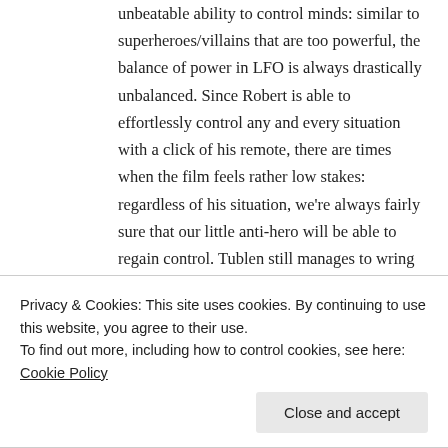unbeatable ability to control minds: similar to superheroes/villains that are too powerful, the balance of power in LFO is always drastically unbalanced. Since Robert is able to effortlessly control any and every situation with a click of his remote, there are times when the film feels rather low stakes: regardless of his situation, we're always fairly sure that our little anti-hero will be able to regain control. Tublen still manages to wring plenty of genuine suspense and tension out of the scenario, don't get me wrong, but this is definitely the epitome of a "stacked deck."
In the end, I quite liked LFO: the film was very smart, relentless and genuinely intriguing. While never as
Privacy & Cookies: This site uses cookies. By continuing to use this website, you agree to their use.
To find out more, including how to control cookies, see here: Cookie Policy